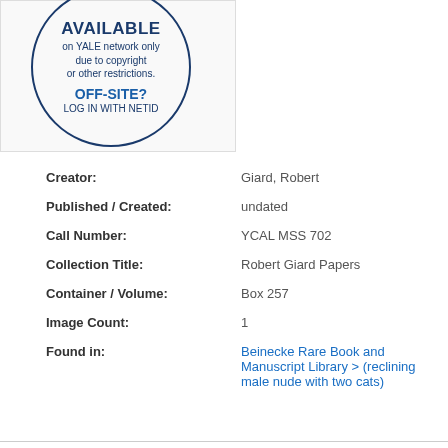[Figure (illustration): Circle badge with text: AVAILABLE on YALE network only due to copyright or other restrictions. OFF-SITE? LOG IN WITH NETID]
Creator: Giard, Robert
Published / Created: undated
Call Number: YCAL MSS 702
Collection Title: Robert Giard Papers
Container / Volume: Box 257
Image Count: 1
Found in: Beinecke Rare Book and Manuscript Library > (reclining male nude with two cats)